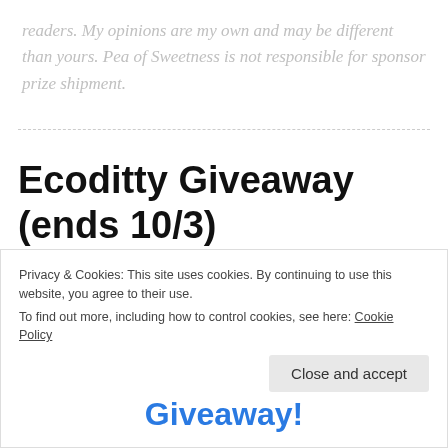readers. My opinions are my own and may be different than yours. Pea of Sweetness is not responsible for sponsor prize shipment.
Ecoditty Giveaway (ends 10/3)
Privacy & Cookies: This site uses cookies. By continuing to use this website, you agree to their use. To find out more, including how to control cookies, see here: Cookie Policy
Close and accept
Giveaway!